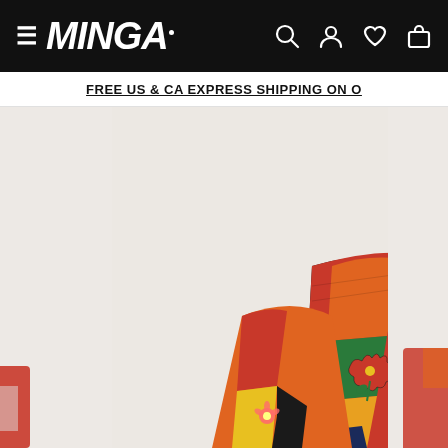≡ MINGA  🔍 👤 ♡ 🛍
FREE US & CA EXPRESS SHIPPING ON O
[Figure (photo): Fashion e-commerce website screenshot showing the Minga London store. The main image shows a young woman wearing a colorful patchwork crochet cardigan with floral embroidery in black, red, orange, green, yellow, and navy blue color blocks. She wears a red beret hat and a black crop top underneath, with layered necklaces including a choker. The background is off-white. Partial images of other product photos are visible on the left and right edges.]